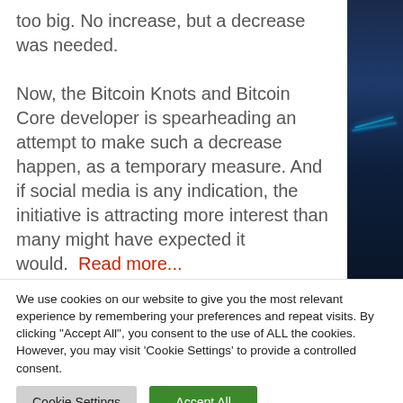too big. No increase, but a decrease was needed.

Now, the Bitcoin Knots and Bitcoin Core developer is spearheading an attempt to make such a decrease happen, as a temporary measure. And if social media is any indication, the initiative is attracting more interest than many might have expected it would.  Read more...
We use cookies on our website to give you the most relevant experience by remembering your preferences and repeat visits. By clicking "Accept All", you consent to the use of ALL the cookies. However, you may visit 'Cookie Settings' to provide a controlled consent.